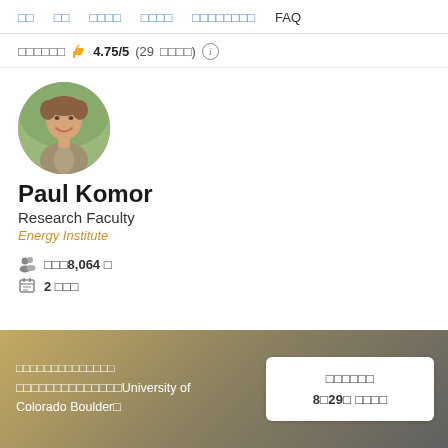□□  □□  □□□□  □□□□  □□□□□□□□  FAQ
□□□□□□ 🖒 4.75/5 (29 □□□□) ℹ
[Figure (photo): Round profile photo of Paul Komor, a man smiling outdoors]
Paul Komor
Research Faculty
Energy Institute
□□□ 8,064 □
2 □□□
□□□□□□□□□□□□□□
□□□□□□□□□□□□□□University of Colorado Boulder□
□□□□□□
8□29□ □□□□